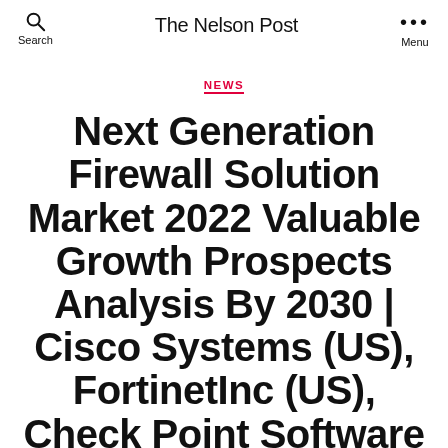Search | The Nelson Post | Menu
NEWS
Next Generation Firewall Solution Market 2022 Valuable Growth Prospects Analysis By 2030 | Cisco Systems (US), FortinetInc (US), Check Point Software (US), Palo Alto Networks